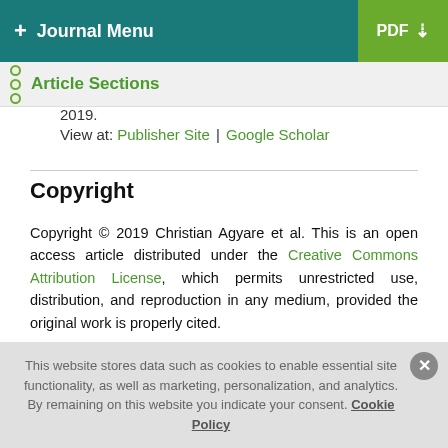+ Journal Menu | PDF
Article Sections
2019.
View at: Publisher Site | Google Scholar
Copyright
Copyright © 2019 Christian Agyare et al. This is an open access article distributed under the Creative Commons Attribution License, which permits unrestricted use, distribution, and reproduction in any medium, provided the original work is properly cited.
This website stores data such as cookies to enable essential site functionality, as well as marketing, personalization, and analytics. By remaining on this website you indicate your consent. Cookie Policy